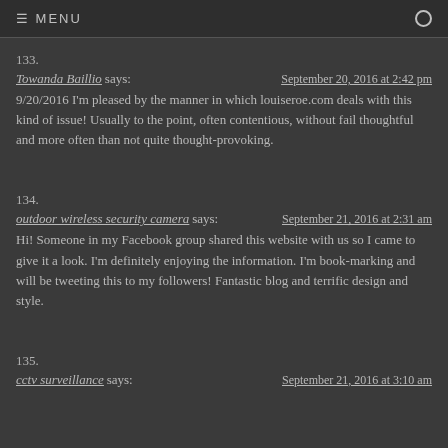≡ MENU
133.
Towanda Baillio says: September 20, 2016 at 2:42 pm
9/20/2016 I'm pleased by the manner in which louiseroe.com deals with this kind of issue! Usually to the point, often contentious, without fail thoughtful and more often than not quite thought-provoking.
134.
outdoor wireless security camera says: September 21, 2016 at 2:31 am
Hi! Someone in my Facebook group shared this website with us so I came to give it a look. I'm definitely enjoying the information. I'm book-marking and will be tweeting this to my followers! Fantastic blog and terrific design and style.
135.
cctv surveillance says: September 21, 2016 at 3:10 am